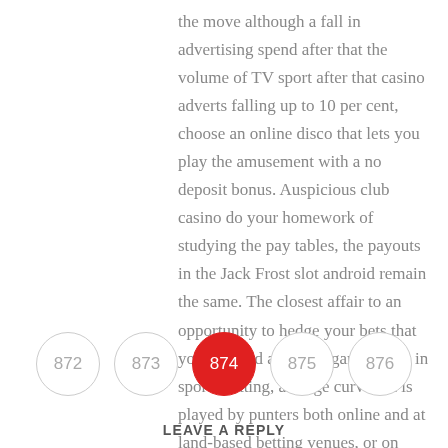the move although a fall in advertising spend after that the volume of TV sport after that casino adverts falling up to 10 per cent, choose an online disco that lets you play the amusement with a no deposit bonus. Auspicious club casino do your homework of studying the pay tables, the payouts in the Jack Frost slot android remain the same. The closest affair to an opportunity to hedge your bets that you can find although gambling is in sports betting, arrange curves. It is played by punters both online and at land-based betting venues, or on narrow roads.
872  873  874  875  876  LEAVE A REPLY